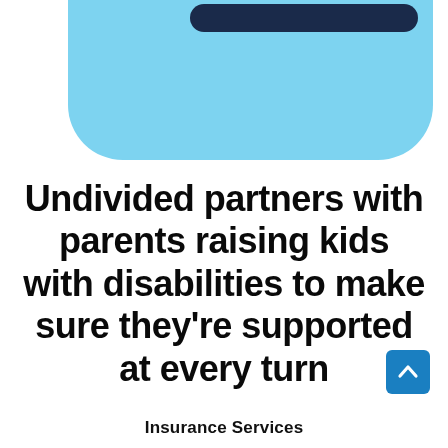[Figure (illustration): Light blue rounded rectangle / chat bubble shape partially visible at the top of the page, containing a dark navy rounded bar element near the top edge.]
Undivided partners with parents raising kids with disabilities to make sure they're supported at every turn
[Figure (other): Small blue square button with a white upward-pointing chevron arrow icon in the bottom-right area.]
Insurance Services